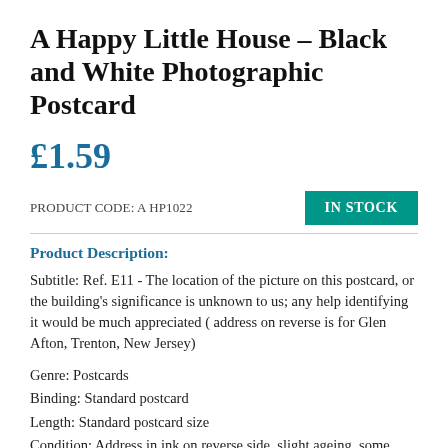A Happy Little House – Black and White Photographic Postcard
£1.59
PRODUCT CODE: A HP1022
IN STOCK
Product Description:
Subtitle: Ref. E11 - The location of the picture on this postcard, or the building's significance is unknown to us; any help identifying it would be much appreciated ( address on reverse is for Glen Afton, Trenton, New Jersey)
Genre: Postcards
Binding: Standard postcard
Length: Standard postcard size
Condition: Address in ink on reverse side, slight ageing, some rubbing to corners